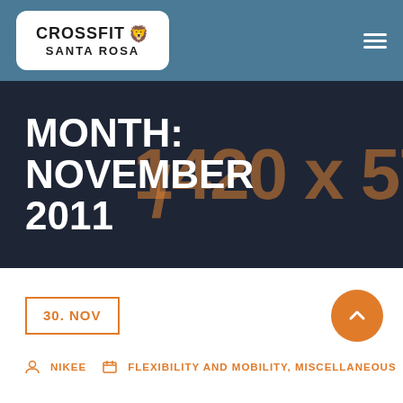CROSSFIT SANTA ROSA
MONTH: NOVEMBER 2011
[Figure (other): Watermark text: 1420 x 576]
30. NOV
NIKEE   FLEXIBILITY AND MOBILITY, MISCELLANEOUS